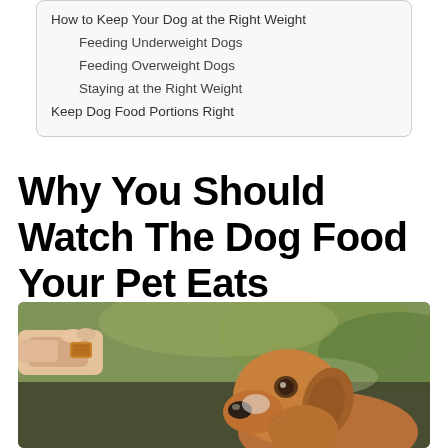How to Keep Your Dog at the Right Weight
Feeding Underweight Dogs
Feeding Overweight Dogs
Staying at the Right Weight
Keep Dog Food Portions Right
Why You Should Watch The Dog Food Your Pet Eats
[Figure (photo): A hand holding a dog treat/biscuit toward a brown dog (beagle/hound mix) looking up attentively, outdoors with blurred green background.]